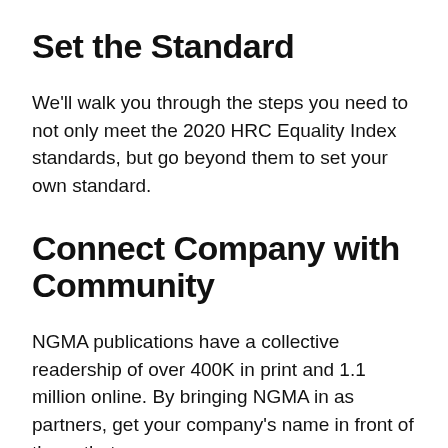Set the Standard
We’ll walk you through the steps you need to not only meet the 2020 HRC Equality Index standards, but go beyond them to set your own standard.
Connect Company with Community
NGMA publications have a collective readership of over 400K in print and 1.1 million online. By bringing NGMA in as partners, get your company’s name in front of those that